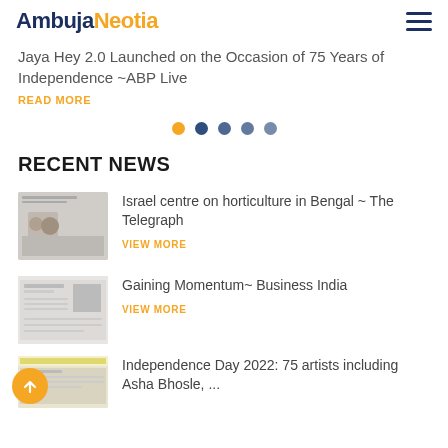AmbujaNeo tia
Jaya Hey 2.0 Launched on the Occasion of 75 Years of Independence ~ABP Live
READ MORE
[Figure (other): Carousel navigation dots: one orange dot followed by four dark blue dots]
RECENT NEWS
Israel centre on horticulture in Bengal ~ The Telegraph
VIEW MORE
Gaining Momentum~ Business India
VIEW MORE
Independence Day 2022: 75 artists including Asha Bhosle, ...